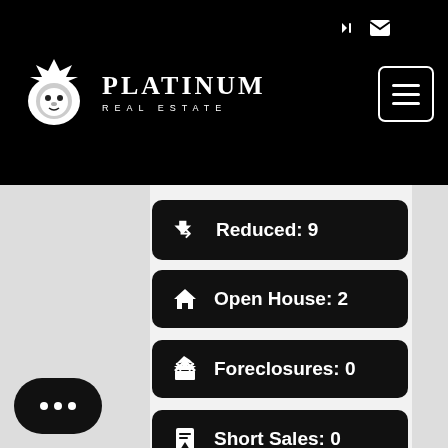[Figure (logo): Platinum Real Estate logo with lion icon and text]
Reduced: 9
Open House: 2
Foreclosures: 0
Short Sales: 0